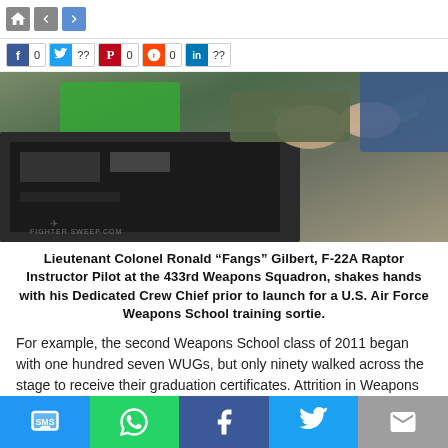[Figure (screenshot): Top navigation bar with home icon, back/forward arrows, and social share counters for Facebook (0), Twitter (??), Pinterest (0), Reddit (0), LinkedIn (??)]
[Figure (photo): Lieutenant Colonel Ronald Fangs Gilbert, F-22A Raptor Instructor Pilot, shaking hands with his Dedicated Crew Chief near a military jet cockpit before a U.S. Air Force Weapons School training sortie.]
Lieutenant Colonel Ronald “Fangs” Gilbert, F-22A Raptor Instructor Pilot at the 433rd Weapons Squadron, shakes hands with his Dedicated Crew Chief prior to launch for a U.S. Air Force Weapons School training sortie.
For example, the second Weapons School class of 2011 began with one hundred seven WUGs, but only ninety walked across the stage to receive their graduation certificates. Attrition in Weapons School hovers around fifteen percent, due largely to the breadth and depth of the training when the transition was
[Figure (screenshot): Bottom action bar with SMS, WhatsApp, Facebook, Twitter, and Email sharing buttons]